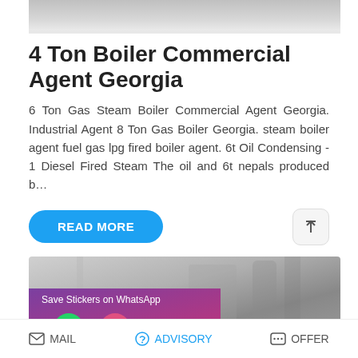[Figure (photo): Top partial photo of a ceiling/floor interior, gray tones]
4 Ton Boiler Commercial Agent Georgia
6 Ton Gas Steam Boiler Commercial Agent Georgia. Industrial Agent 8 Ton Gas Boiler Georgia. steam boiler agent fuel gas lpg fired boiler agent. 6t Oil Condensing - 1 Diesel Fired Steam The oil and 6t nepals produced b…
READ MORE
[Figure (photo): Bottom photo of industrial boiler equipment in a facility, with WhatsApp save stickers overlay showing phone and emoji icons]
MAIL   ADVISORY   OFFER